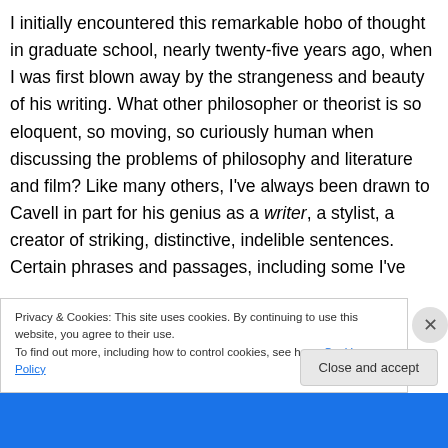I initially encountered this remarkable hobo of thought in graduate school, nearly twenty-five years ago, when I was first blown away by the strangeness and beauty of his writing. What other philosopher or theorist is so eloquent, so moving, so curiously human when discussing the problems of philosophy and literature and film? Like many others, I've always been drawn to Cavell in part for his genius as a writer, a stylist, a creator of striking, distinctive, indelible sentences. Certain phrases and passages, including some I've
Privacy & Cookies: This site uses cookies. By continuing to use this website, you agree to their use.
To find out more, including how to control cookies, see here: Cookie Policy
Close and accept